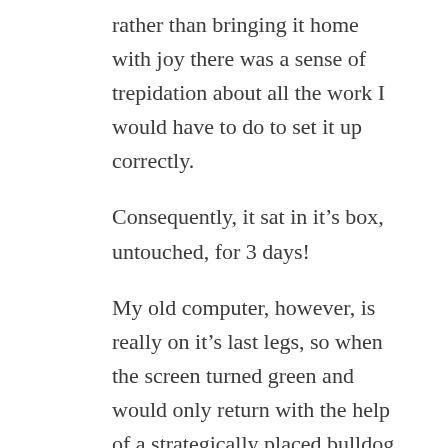rather than bringing it home with joy there was a sense of trepidation about all the work I would have to do to set it up correctly.
Consequently, it sat in it’s box, untouched, for 3 days!
My old computer, however, is really on it’s last legs, so when the screen turned green and would only return with the help of a strategically placed bulldog clip. I decided it was time to open the box!
This morning I started to tackle my images folders and it was with a sense of doom that I